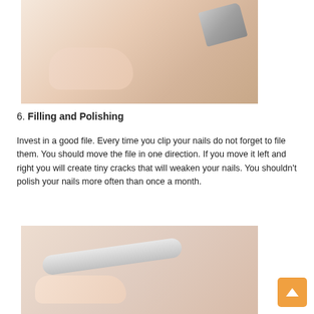[Figure (photo): Hands using a nail clipper to clip fingernails, close-up view on white background]
6. Filling and Polishing
Invest in a good file. Every time you clip your nails do not forget to file them. You should move the file in one direction. If you move it left and right you will create tiny cracks that will weaken your nails. You shouldn't polish your nails more often than once a month.
[Figure (photo): Hands filing fingernails with a nail file, close-up view on light background]